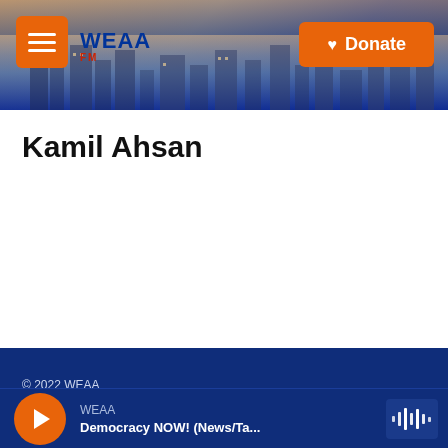[Figure (screenshot): WEAA radio website header banner with city skyline background, hamburger menu button, WEAA logo, and orange Donate button]
Kamil Ahsan
© 2022 WEAA
WEAA
Democracy NOW! (News/Ta...